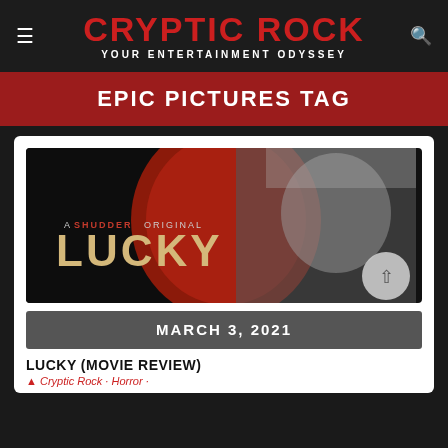[Figure (logo): Cryptic Rock logo — red bold text 'CRYPTIC ROCK' with white subtitle 'YOUR ENTERTAINMENT ODYSSEY' on dark background, with hamburger menu icon on left and search icon on right]
EPIC PICTURES TAG
[Figure (photo): Movie poster for 'Lucky' — A Shudder Original. Split image: left side shows text 'A SHUDDER ORIGINAL / LUCKY' on dark background with a red-painted demonic face, right side shows a woman with blonde hair in black and white.]
MARCH 3, 2021
LUCKY (MOVIE REVIEW)